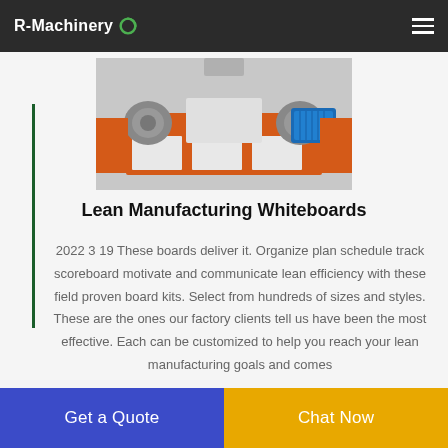R-Machinery
[Figure (photo): Industrial shredder/recycling machine in orange and white with blue motor, photographed in a factory setting]
Lean Manufacturing Whiteboards
2022 3 19 These boards deliver it. Organize plan schedule track scoreboard motivate and communicate lean efficiency with these field proven board kits. Select from hundreds of sizes and styles. These are the ones our factory clients tell us have been the most effective. Each can be customized to help you reach your lean manufacturing goals and comes
Get a Quote
Chat Now